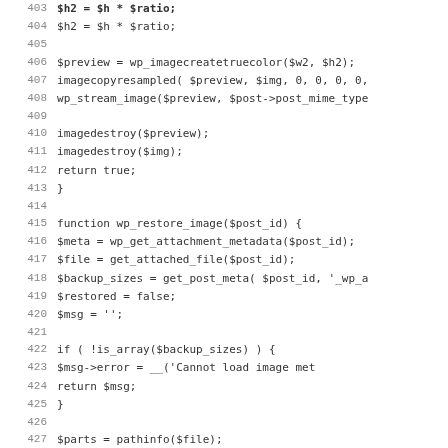[Figure (screenshot): Source code listing showing PHP functions wp_restore_image and related image manipulation code, lines 403-435, with line numbers on the left and monospace code on the right.]